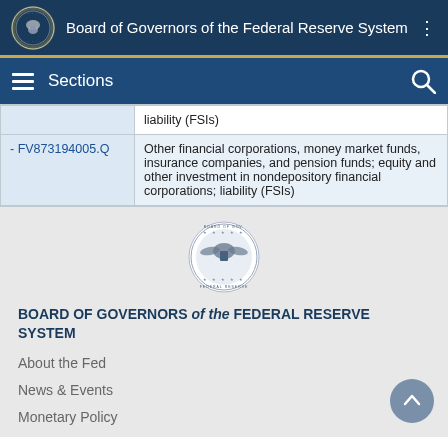Board of Governors of the Federal Reserve System
Sections
|  | Description |
| --- | --- |
|  | liability (FSIs) |
| - FV873194005.Q | Other financial corporations, money market funds, insurance companies, and pension funds; equity and other investment in nondepository financial corporations; liability (FSIs) |
[Figure (logo): Federal Reserve Board of Governors seal]
BOARD OF GOVERNORS of the FEDERAL RESERVE SYSTEM
About the Fed
News & Events
Monetary Policy